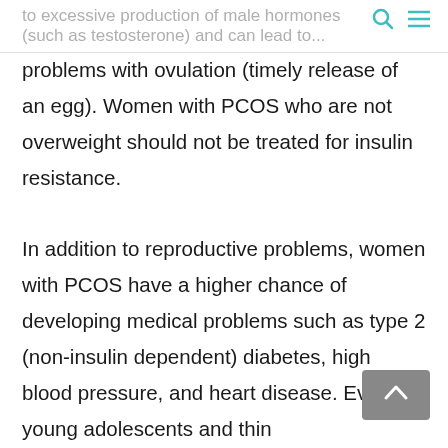to excessive production of male hormones (such as testosterone) and can lead to...
problems with ovulation (timely release of an egg). Women with PCOS who are not overweight should not be treated for insulin resistance. In addition to reproductive problems, women with PCOS have a higher chance of developing medical problems such as type 2 (non-insulin dependent) diabetes, high blood pressure, and heart disease. Even young adolescents and thin